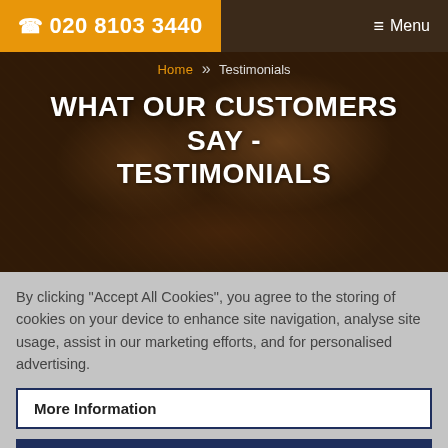☎ 020 8103 3440  ≡ Menu
Home » Testimonials
WHAT OUR CUSTOMERS SAY - TESTIMONIALS
By clicking "Accept All Cookies", you agree to the storing of cookies on your device to enhance site navigation, analyse site usage, assist in our marketing efforts, and for personalised advertising.
More Information
Accept All Cookies